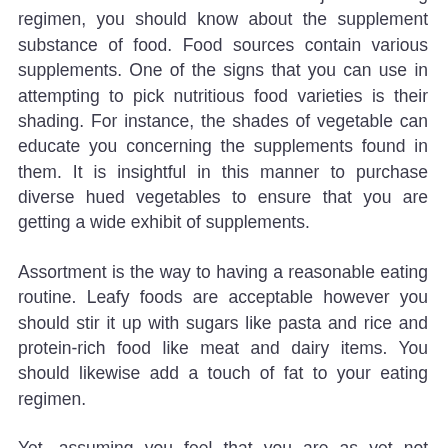need for to foster a solid and adjusted eating regimen, you should know about the supplement substance of food. Food sources contain various supplements. One of the signs that you can use in attempting to pick nutritious food varieties is their shading. For instance, the shades of vegetable can educate you concerning the supplements found in them. It is insightful in this manner to purchase diverse hued vegetables to ensure that you are getting a wide exhibit of supplements.
Assortment is the way to having a reasonable eating routine. Leafy foods are acceptable however you should stir it up with sugars like pasta and rice and protein-rich food like meat and dairy items. You should likewise add a touch of fat to your eating regimen.
Yet, assuming you feel that you are as yet not getting enough Rootine Vitamins, you ought to consider taking